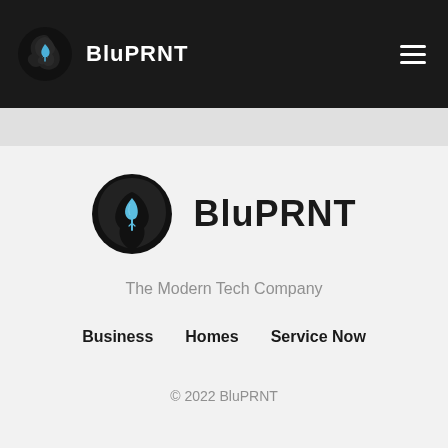BluPRNT
[Figure (logo): BluPRNT circular logo with a blue cannabis leaf on dark background and company name BluPRNT]
The Modern Tech Company
Business
Homes
Service Now
© 2022 BluPRNT